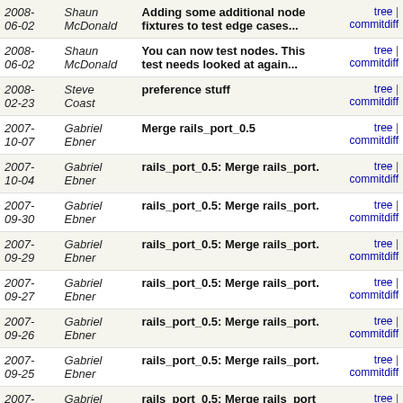| Date | Author | Message | Links |
| --- | --- | --- | --- |
| 2008-06-02 | Shaun McDonald | Adding some additional node fixtures to test edge cases... | tree | commitdiff |
| 2008-06-02 | Shaun McDonald | You can now test nodes. This test needs looked at again... | tree | commitdiff |
| 2008-02-23 | Steve Coast | preference stuff | tree | commitdiff |
| 2007-10-07 | Gabriel Ebner | Merge rails_port_0.5 | tree | commitdiff |
| 2007-10-04 | Gabriel Ebner | rails_port_0.5: Merge rails_port. | tree | commitdiff |
| 2007-09-30 | Gabriel Ebner | rails_port_0.5: Merge rails_port. | tree | commitdiff |
| 2007-09-29 | Gabriel Ebner | rails_port_0.5: Merge rails_port. | tree | commitdiff |
| 2007-09-27 | Gabriel Ebner | rails_port_0.5: Merge rails_port. | tree | commitdiff |
| 2007-09-26 | Gabriel Ebner | rails_port_0.5: Merge rails_port. | tree | commitdiff |
| 2007-09-25 | Gabriel Ebner | rails_port_0.5: Merge rails_port. | tree | commitdiff |
| 2007-09-23 | Gabriel Ebner | rails_port_0.5: Merge rails_port r4664. | tree | commitdiff |
| 2007-09-22 | Gabriel Ebner | rails_port_0.5: Merge rails_port r4643 | tree | commitdiff |
| 2007-09-20 | Gabriel Ebner | Merge rails_port as of r4613 & fix tests. | tree | commitdiff |
| 2007-... | Gabriel Ebner | ... | tree |